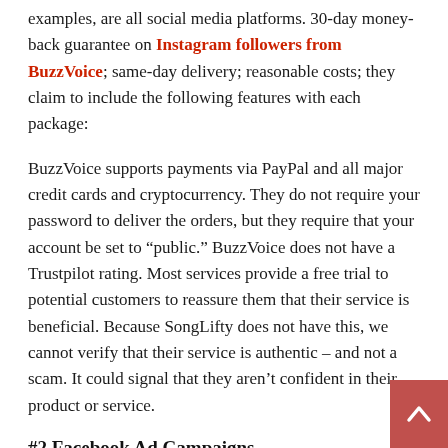examples, are all social media platforms. 30-day money-back guarantee on Instagram followers from BuzzVoice; same-day delivery; reasonable costs; they claim to include the following features with each package:
BuzzVoice supports payments via PayPal and all major credit cards and cryptocurrency. They do not require your password to deliver the orders, but they require that your account be set to “public.” BuzzVoice does not have a Trustpilot rating. Most services provide a free trial to potential customers to reassure them that their service is beneficial. Because SongLifty does not have this, we cannot verify that their service is authentic – and not a scam. It could signal that they aren’t confident in their product or service.
#2 Facebook Ad Campaigns
The budget for social advertising is limited, and you’re unsure of the best place to spend it: Facebook or Instagram? It’s a challenging question with an even more complex answer: it depends on the circumstances. Although the two platforms have similar user bases, the